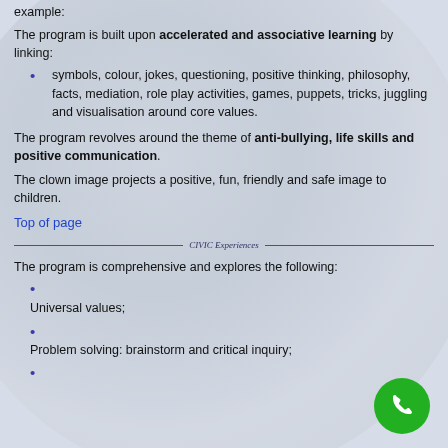example:
The program is built upon accelerated and associative learning by linking:
symbols, colour, jokes, questioning, positive thinking, philosophy, facts, mediation, role play activities, games, puppets, tricks, juggling and visualisation around core values.
The program revolves around the theme of anti-bullying, life skills and positive communication.
The clown image projects a positive, fun, friendly and safe image to children.
Top of page
The program is comprehensive and explores the following:
Universal values;
Problem solving: brainstorm and critical inquiry;